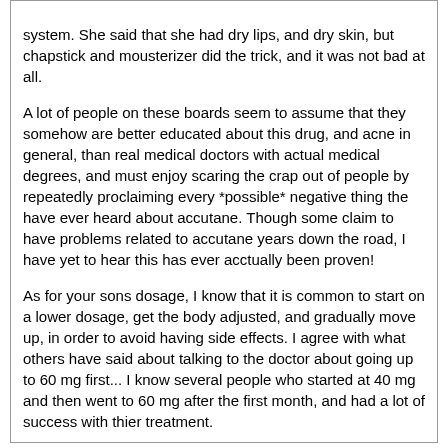system. She said that she had dry lips, and dry skin, but chapstick and mousterizer did the trick, and it was not bad at all.

A lot of people on these boards seem to assume that they somehow are better educated about this drug, and acne in general, than real medical doctors with actual medical degrees, and must enjoy scaring the crap out of people by repeatedly proclaiming every *possible* negative thing the have ever heard about accutane. Though some claim to have problems related to accutane years down the road, I have yet to hear this has ever acctually been proven!

As for your sons dosage, I know that it is common to start on a lower dosage, get the body adjusted, and gradually move up, in order to avoid having side effects. I agree with what others have said about talking to the doctor about going up to 60 mg first... I know several people who started at 40 mg and then went to 60 mg after the first month, and had a lot of success with thier treatment.
prometheus
02-23-2004 12:21 PM
Re: My 13 year old on accutane(LONG POST)
LOL. If I didn't know more than my doctors I would still have acne and other problems. :)
But if it makes you feel any better, a lot of PhD's and medical doctors agree with me.